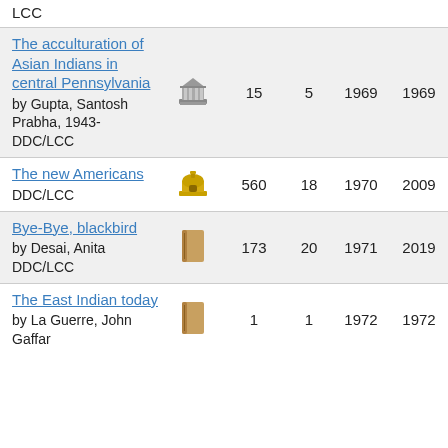LCC
The acculturation of Asian Indians in central Pennsylvania by Gupta, Santosh Prabha, 1943- DDC/LCC | 15 | 5 | 1969 | 1969
The new Americans DDC/LCC | 560 | 18 | 1970 | 2009
Bye-Bye, blackbird by Desai, Anita DDC/LCC | 173 | 20 | 1971 | 2019
The East Indian today by La Guerre, John Gaffar | 1 | 1 | 1972 | 1972